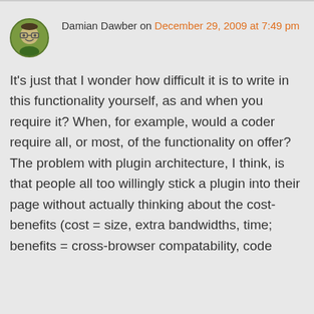[Figure (illustration): Circular avatar image with green background showing a cartoon face with glasses]
Damian Dawber on December 29, 2009 at 7:49 pm
It's just that I wonder how difficult it is to write in this functionality yourself, as and when you require it? When, for example, would a coder require all, or most, of the functionality on offer? The problem with plugin architecture, I think, is that people all too willingly stick a plugin into their page without actually thinking about the cost-benefits (cost = size, extra bandwidths, time; benefits = cross-browser compatability, code